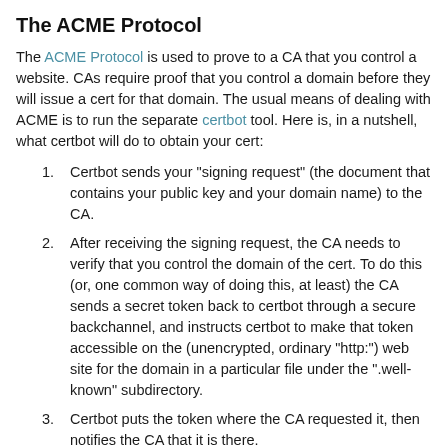The ACME Protocol
The ACME Protocol is used to prove to a CA that you control a website. CAs require proof that you control a domain before they will issue a cert for that domain. The usual means of dealing with ACME is to run the separate certbot tool. Here is, in a nutshell, what certbot will do to obtain your cert:
Certbot sends your "signing request" (the document that contains your public key and your domain name) to the CA.
After receiving the signing request, the CA needs to verify that you control the domain of the cert. To do this (or, one common way of doing this, at least) the CA sends a secret token back to certbot through a secure backchannel, and instructs certbot to make that token accessible on the (unencrypted, ordinary "http:") web site for the domain in a particular file under the ".well-known" subdirectory.
Certbot puts the token where the CA requested it, then notifies the CA that it is there.
The CA accesses the token to confirm that you do indeed control the website. It then creates the cert and sends it back to certbot.
Certbot stores your cert and deletes the ".well-known" token